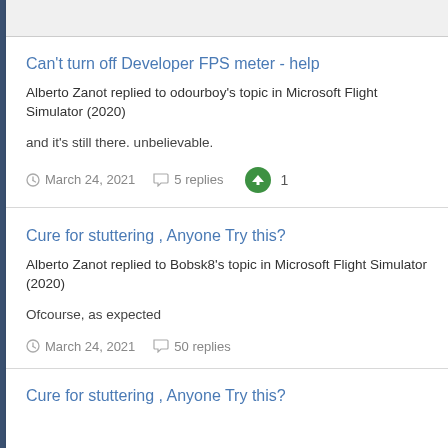Can't turn off Developer FPS meter - help
Alberto Zanot replied to odourboy's topic in Microsoft Flight Simulator (2020)
and it's still there. unbelievable.
March 24, 2021  5 replies  1
Cure for stuttering , Anyone Try this?
Alberto Zanot replied to Bobsk8's topic in Microsoft Flight Simulator (2020)
Ofcourse, as expected
March 24, 2021  50 replies
Cure for stuttering , Anyone Try this?